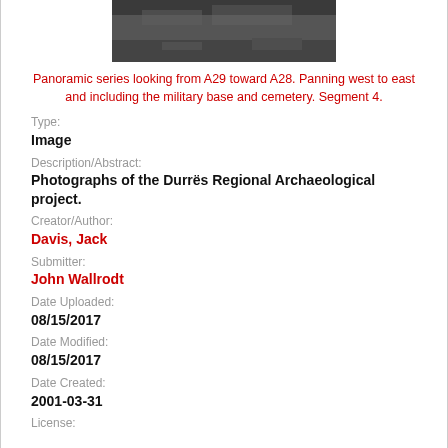[Figure (photo): Grayscale photograph, part of a panoramic series, dark ground surface]
Panoramic series looking from A29 toward A28. Panning west to east and including the military base and cemetery. Segment 4.
Type:
Image
Description/Abstract:
Photographs of the Durrës Regional Archaeological project.
Creator/Author:
Davis, Jack
Submitter:
John Wallrodt
Date Uploaded:
08/15/2017
Date Modified:
08/15/2017
Date Created:
2001-03-31
License: